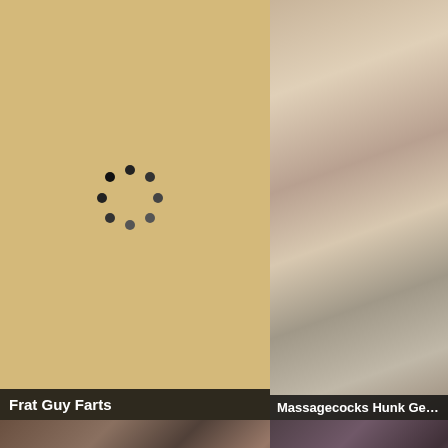[Figure (photo): Tan/golden background with a circular loading spinner (dots arranged in a circle) in the center. Title bar at bottom reads 'Frat Guy Farts'.]
[Figure (photo): Adult content video thumbnail. Title bar reads 'Massagecocks Hunk Gets Massa...']
[Figure (photo): Adult content video thumbnail. Title bar reads 'Naked run gay porn games hot t...']
[Figure (photo): Adult content video thumbnail. Title bar reads 'DICKS 4 MY BRUH'. UP badge in bottom-right corner.]
[Figure (photo): Partial adult content video thumbnail at bottom, partially cropped.]